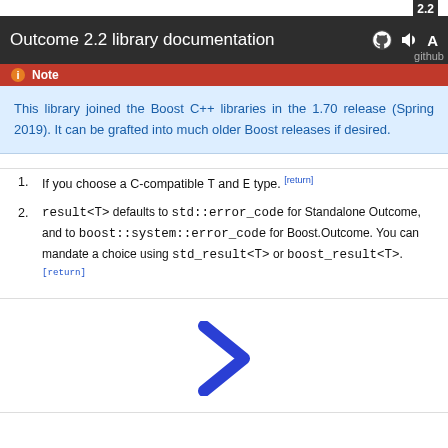Outcome 2.2 library documentation
This library joined the Boost C++ libraries in the 1.70 release (Spring 2019). It can be grafted into much older Boost releases if desired.
If you choose a C-compatible T and E type. [return]
result<T> defaults to std::error_code for Standalone Outcome, and to boost::system::error_code for Boost.Outcome. You can mandate a choice using std_result<T> or boost_result<T>. [return]
[Figure (other): Blue right-pointing chevron navigation arrow]